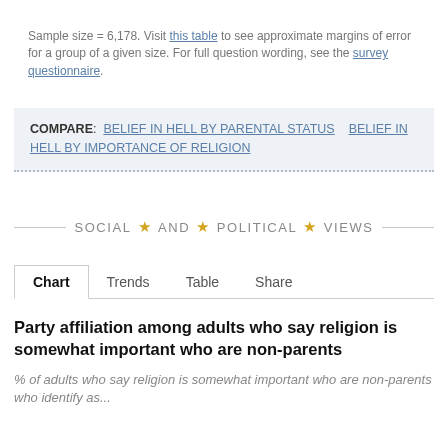Sample size = 6,178. Visit this table to see approximate margins of error for a group of a given size. For full question wording, see the survey questionnaire.
COMPARE: BELIEF IN HELL BY PARENTAL STATUS   BELIEF IN HELL BY IMPORTANCE OF RELIGION
SOCIAL AND POLITICAL VIEWS
Chart   Trends   Table   Share
Party affiliation among adults who say religion is somewhat important who are non-parents
% of adults who say religion is somewhat important who are non-parents who identify as...